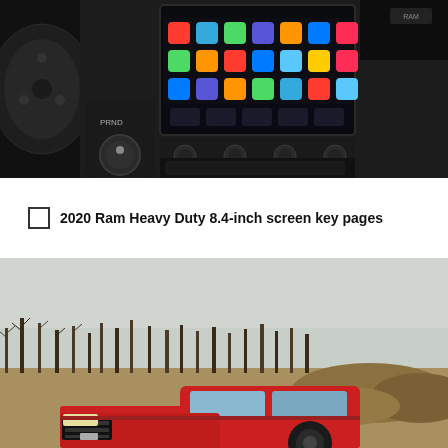[Figure (photo): Interior photo of a 2020 Ram Heavy Duty truck showing the center console with a large 8.4-inch touchscreen displaying Apple CarPlay with colorful app icons, surrounded by climate controls, gear shift knob, and other dashboard controls.]
2020 Ram Heavy Duty 8.4-inch screen key pages
[Figure (photo): Exterior photo of a red 2020 Ram Heavy Duty pickup truck parked in an open field with bare winter trees and overcast sky in the background.]